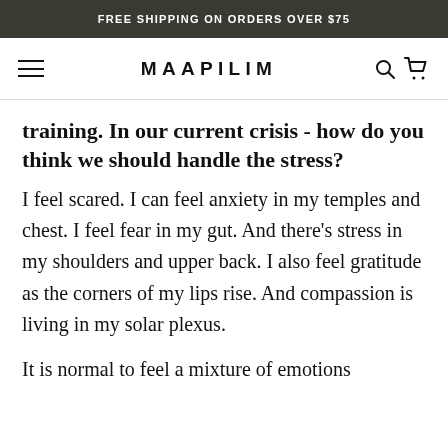FREE SHIPPING ON ORDERS OVER $75
MAAPILIM
training. In our current crisis - how do you think we should handle the stress?
I feel scared. I can feel anxiety in my temples and chest. I feel fear in my gut. And there’s stress in my shoulders and upper back. I also feel gratitude as the corners of my lips rise. And compassion is living in my solar plexus.
It is normal to feel a mixture of emotions